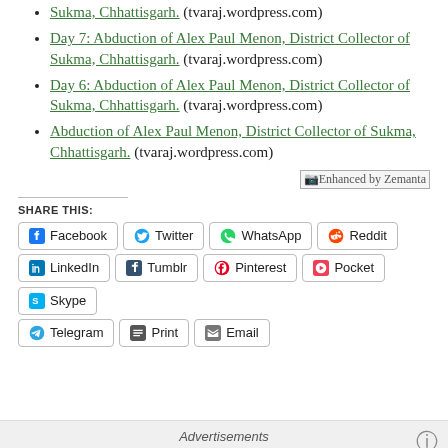Sukma, Chhattisgarh. (tvaraj.wordpress.com)
Day 7: Abduction of Alex Paul Menon, District Collector of Sukma, Chhattisgarh. (tvaraj.wordpress.com)
Day 6: Abduction of Alex Paul Menon, District Collector of Sukma, Chhattisgarh. (tvaraj.wordpress.com)
Abduction of Alex Paul Menon, District Collector of Sukma, Chhattisgarh. (tvaraj.wordpress.com)
[Figure (other): Enhanced by Zemanta badge/image]
SHARE THIS:
Facebook | Twitter | WhatsApp | Reddit | LinkedIn | Tumblr | Pinterest | Pocket | Skype | Telegram | Print | Email
Advertisements